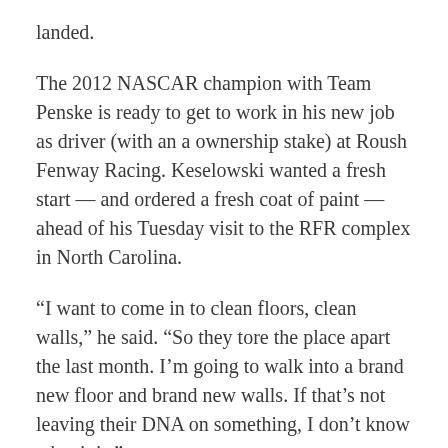landed.
The 2012 NASCAR champion with Team Penske is ready to get to work in his new job as driver (with an a ownership stake) at Roush Fenway Racing. Keselowski wanted a fresh start — and ordered a fresh coat of paint — ahead of his Tuesday visit to the RFR complex in North Carolina.
“I want to come in to clean floors, clean walls,” he said. “So they tore the place apart the last month. I’m going to walk into a brand new floor and brand new walls. If that’s not leaving their DNA on something, I don’t know what it is.”
Up first, Keselowski makes one final ride Sunday at Phoenix Raceway for the team he spent essentially his entire 12-year career with. Keselowski and Penske have talked about finishing strong and maybe add one final checkered flag to the collection. Keselowski